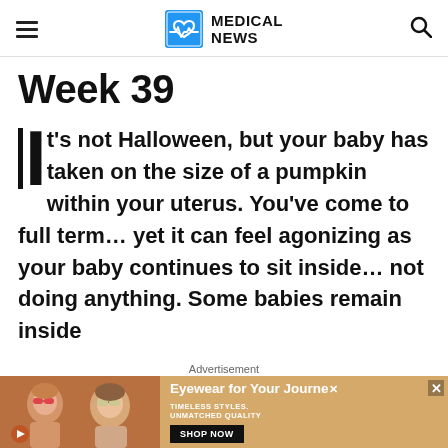MEDICAL NEWS
Week 39
It's not Halloween, but your baby has taken on the size of a pumpkin within your uterus. You've come to full term… yet it can feel agonizing as your baby continues to sit inside… not doing anything. Some babies remain inside
Advertisement
[Figure (photo): Advertisement banner for eyewear showing two women wearing sunglasses with text 'Eyewear for Your Journey', 'TIMELESS STYLES, UNMATCHED QUALITY', and a 'SHOP NOW' button]